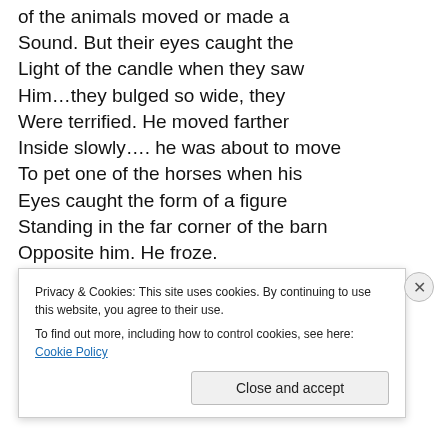of the animals moved or made a Sound. But their eyes caught the Light of the candle when they saw Him…they bulged so wide, they Were terrified. He moved farther Inside slowly…. he was about to move To pet one of the horses when his Eyes caught the form of a figure Standing in the far corner of the barn Opposite him. He froze.
'Hello Jon.' The form said from the
Privacy & Cookies: This site uses cookies. By continuing to use this website, you agree to their use. To find out more, including how to control cookies, see here: Cookie Policy
Close and accept